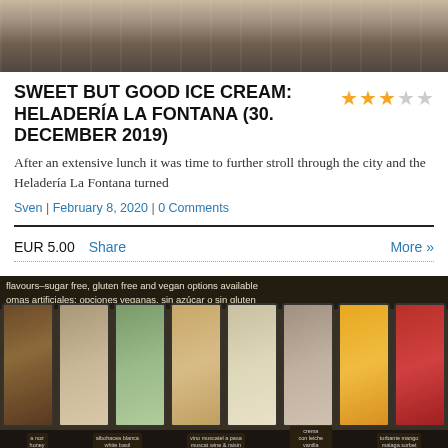[Figure (photo): Top partial photo of ice cream display case, cropped at top]
SWEET BUT GOOD ICE CREAM: HELADERÍA LA FONTANA (30. DECEMBER 2019)
After an extensive lunch it was time to further stroll through the city and the Heladería La Fontana turned
Sven | February 8, 2020 | 0 Comments
EUR 5.00  Share  More »
[Figure (photo): Photo of gelato display case showing multiple flavors including pistachio, vanilla, mango and other varieties with flavor labels. Banner text reads: flavours-sugar free, gluten free and vegan options available / omas artificiales: opciones veganas, sin azúcar o sin gluten]